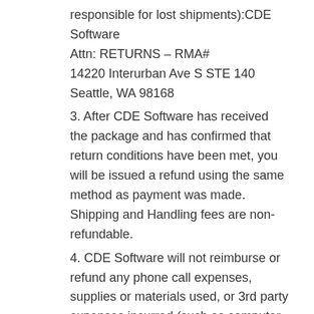responsible for lost shipments):CDE Software
Attn: RETURNS – RMA#
14220 Interurban Ave S STE 140
Seattle, WA 98168
3. After CDE Software has received the package and has confirmed that return conditions have been met, you will be issued a refund using the same method as payment was made. Shipping and Handling fees are non-refundable.
4. CDE Software will not reimburse or refund any phone call expenses, supplies or materials used, or 3rd party expenses incurred (such as computer consultants).
5. Returns that do not have all the materials or is damaged (writing in manual, etc), will be assessed a damage fee of a minimum of $20.00.
When you make a qualifying return, we will issue a